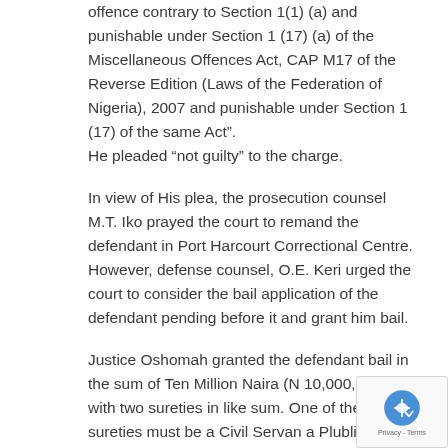offence contrary to Section 1(1) (a) and punishable under Section 1 (17) (a) of the Miscellaneous Offences Act, CAP M17 of the Reverse Edition (Laws of the Federation of Nigeria), 2007 and punishable under Section 1 (17) of the same Act". He pleaded “not guilty” to the charge.
In view of His plea, the prosecution counsel M.T. Iko prayed the court to remand the defendant in Port Harcourt Correctional Centre. However, defense counsel, O.E. Keri urged the court to consider the bail application of the defendant pending before it and grant him bail.
Justice Oshomah granted the defendant bail in the sum of Ten Million Naira (N 10,000,000) with two sureties in like sum. One of the sureties must be a Civil Servant or a Plublic Offfficer who must file an affidavit of means...